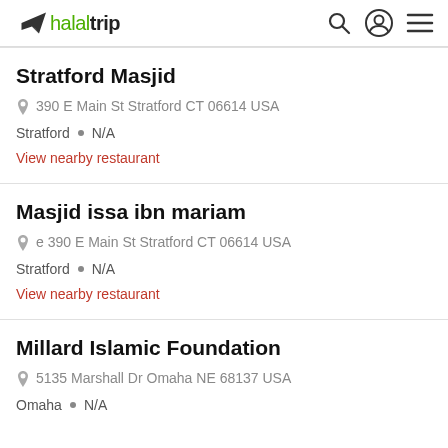halaltrip
Stratford Masjid
390 E Main St Stratford CT 06614 USA
Stratford · N/A
View nearby restaurant
Masjid issa ibn mariam
e 390 E Main St Stratford CT 06614 USA
Stratford · N/A
View nearby restaurant
Millard Islamic Foundation
5135 Marshall Dr Omaha NE 68137 USA
Omaha · N/A